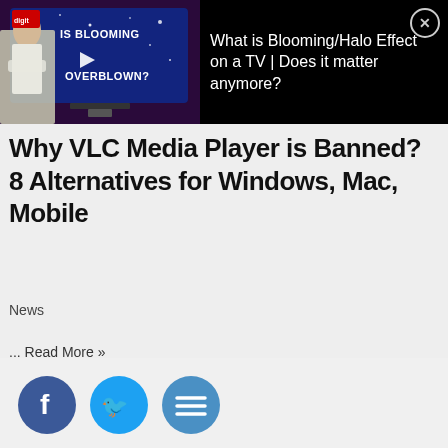[Figure (screenshot): Ad overlay banner with thumbnail of a man standing in front of a TV screen showing 'IS BLOOMING OVERBLOWN?' text, with blue starry background. Digit Advisor logo in top-left of thumbnail.]
What is Blooming/Halo Effect on a TV | Does it matter anymore?
Why VLC Media Player is Banned? 8 Alternatives for Windows, Mac, Mobile
News
... Read More »
[Figure (illustration): Social media share icons: Facebook (blue circle with f), Twitter (blue circle with bird), and a third circular icon, partially visible at bottom of page.]